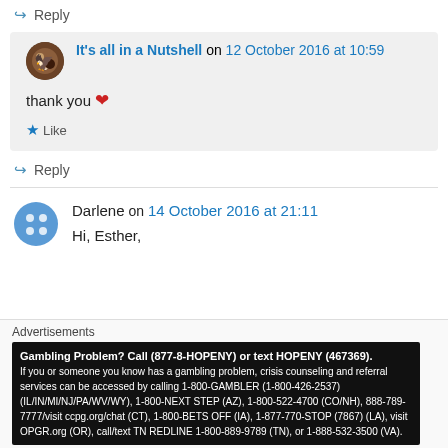↪ Reply
It's all in a Nutshell on 12 October 2016 at 10:59
thank you ❤
★ Like
↪ Reply
Darlene on 14 October 2016 at 21:11
Hi, Esther,
Advertisements
Gambling Problem? Call (877-8-HOPENY) or text HOPENY (467369). If you or someone you know has a gambling problem, crisis counseling and referral services can be accessed by calling 1-800-GAMBLER (1-800-426-2537) (IL/IN/MI/NJ/PA/WV/WY), 1-800-NEXT STEP (AZ), 1-800-522-4700 (CO/NH), 888-789-7777/visit ccpg.org/chat (CT), 1-800-BETS OFF (IA), 1-877-770-STOP (7867) (LA), visit OPGR.org (OR), call/text TN REDLINE 1-800-889-9789 (TN), or 1-888-532-3500 (VA).